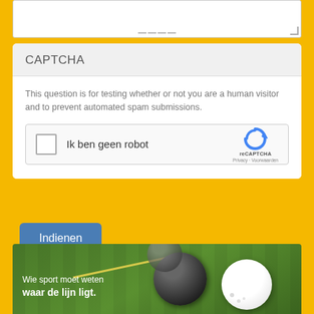[Figure (screenshot): Partial textarea input field at top of page with scrollbar resize handle]
CAPTCHA
This question is for testing whether or not you are a human visitor and to prevent automated spam submissions.
[Figure (other): reCAPTCHA widget with checkbox labeled 'Ik ben geen robot', reCAPTCHA logo, Privacy and Voorwaarden links]
[Figure (other): Submit button labeled 'Indienen' in blue]
[Figure (photo): Sports advertisement banner showing field hockey balls on grass with text 'Wie sport moet weten waar de lijn ligt.']